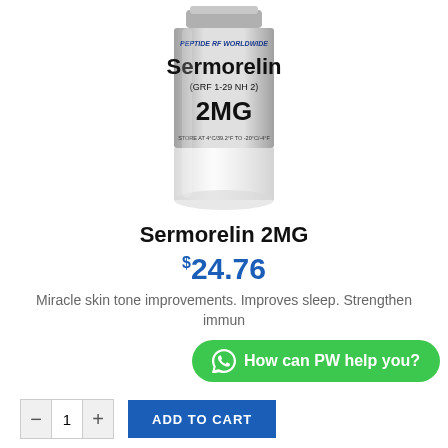[Figure (photo): Photo of a small glass vial with a metallic silver label. The label reads 'PEPTIDE RF WORLDWIDE' at the top in stylized blue text, then 'Sermorelin' in large bold black letters, then '(GRF 1-29 NH 2)' below that, then '2MG' in large bold letters, and at the bottom 'STORE AT 4°C/39.2°F TO -20°C/-4°F'. The vial has a gray metal cap and a transparent glass bottom portion.]
Sermorelin 2MG
$24.76
Miracle skin tone improvements. Improves sleep. Strengthen immun
[Figure (other): Green WhatsApp chat button with WhatsApp icon and text 'How can PW help you?']
[Figure (other): Quantity selector box with minus and plus buttons, and Add to Cart button in blue]